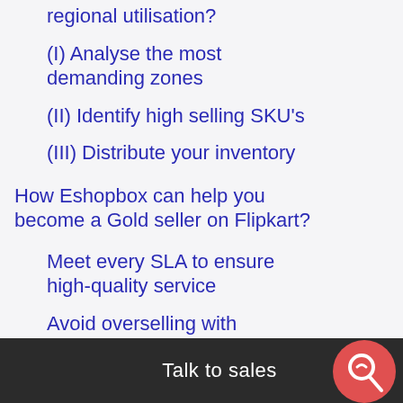regional utilisation?
(I) Analyse the most demanding zones
(II) Identify high selling SKU's
(III) Distribute your inventory
How Eshopbox can help you become a Gold seller on Flipkart?
Meet every SLA to ensure high-quality service
Avoid overselling with accurate inventory relay
Offer product kits to increase your revenue
Talk to sales